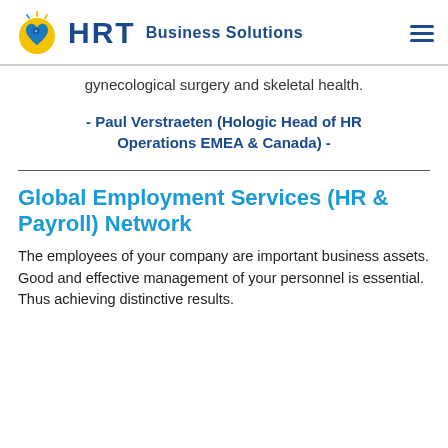HRT Business Solutions
gynecological surgery and skeletal health.
- Paul Verstraeten (Hologic Head of HR Operations EMEA & Canada) -
Global Employment Services (HR & Payroll) Network
The employees of your company are important business assets. Good and effective management of your personnel is essential. Thus achieving distinctive results.